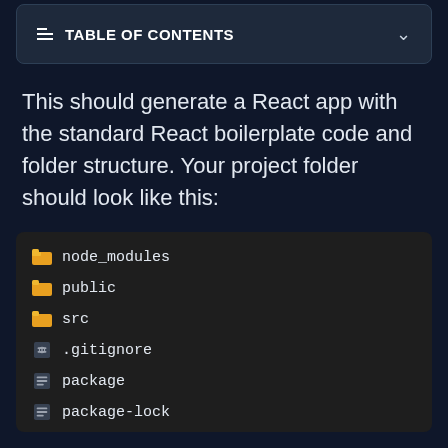TABLE OF CONTENTS
This should generate a React app with the standard React boilerplate code and folder structure. Your project folder should look like this:
node_modules
public
src
.gitignore
package
package-lock